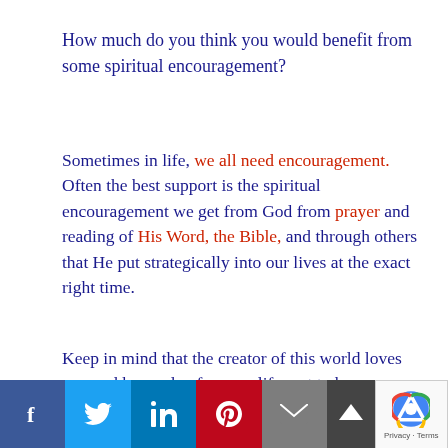How much do you think you would benefit from some spiritual encouragement?
Sometimes in life, we all need encouragement. Often the best support is the spiritual encouragement we get from God from prayer and reading of His Word, the Bible, and through others that He put strategically into our lives at the exact right time.
Keep in mind that the creator of this world loves you and has a plan for your life, not to harm you, but to give you hope and a future.
I want to ask you two spiritual questions to help you decide how much spiritual encouragement you have in your life today. The first question is, “Do you know love God with your whole heart, mind, and soul?” the second d... neighbor like...